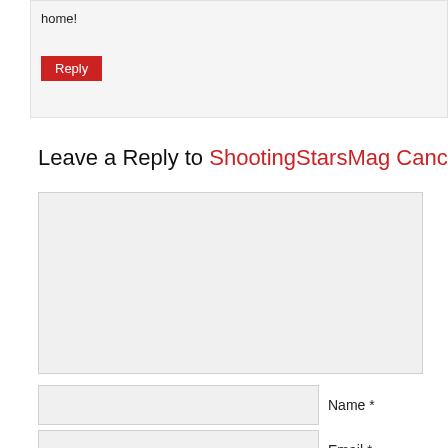home!
Reply
Leave a Reply to ShootingStarsMag Cancel reply
[Figure (other): Comment text area input box (empty, light gray background)]
Name *
Email *
Website